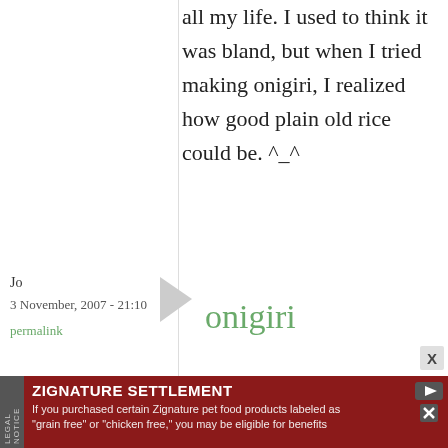all my life. I used to think it was bland, but when I tried making onigiri, I realized how good plain old rice could be. ^_^
Jo
3 November, 2007 - 21:10
permalink
onigiri
wow - love this site - came here via the bento site ...
ZIGNATURE SETTLEMENT
If you purchased certain Zignature pet food products labeled as "grain free" or "chicken free," you may be eligible for benefits